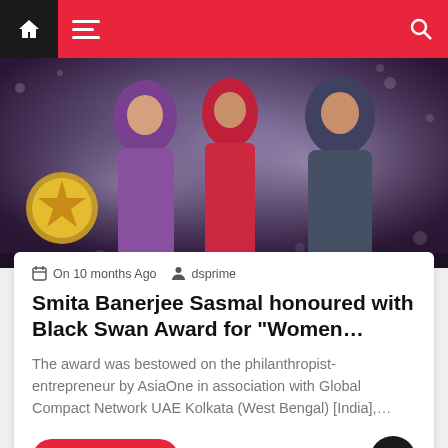Navigation bar with home icon, menu, dark mode toggle, and search
[Figure (photo): Three women in formal/traditional attire on a stage with a star award medallion visible on the left and decorative bokeh background]
On 10 months Ago  dsprime
Smita Banerjee Sasmal honoured with Black Swan Award for “Women…
The award was bestowed on the philanthropist-entrepreneur by AsiaOne in association with Global Compact Network UAE Kolkata (West Bengal) [India],…
Read More